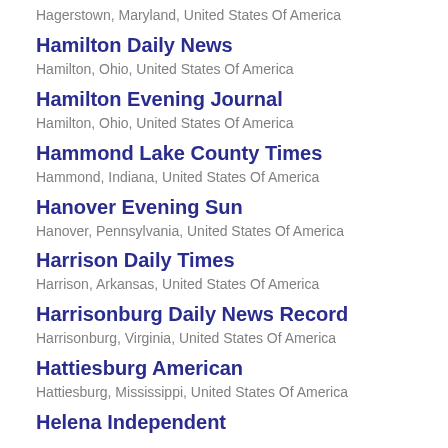Hagerstown, Maryland, United States Of America
Hamilton Daily News
Hamilton, Ohio, United States Of America
Hamilton Evening Journal
Hamilton, Ohio, United States Of America
Hammond Lake County Times
Hammond, Indiana, United States Of America
Hanover Evening Sun
Hanover, Pennsylvania, United States Of America
Harrison Daily Times
Harrison, Arkansas, United States Of America
Harrisonburg Daily News Record
Harrisonburg, Virginia, United States Of America
Hattiesburg American
Hattiesburg, Mississippi, United States Of America
Helena Independent